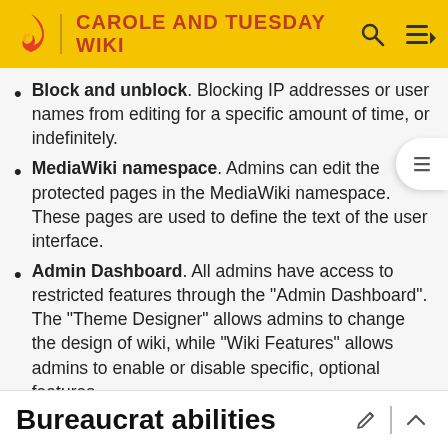CAROLE AND TUESDAY WIKI
Block and unblock. Blocking IP addresses or user names from editing for a specific amount of time, or indefinitely.
MediaWiki namespace. Admins can edit the protected pages in the MediaWiki namespace. These pages are used to define the text of the user interface.
Admin Dashboard. All admins have access to restricted features through the "Admin Dashboard". The "Theme Designer" allows admins to change the design of wiki, while "Wiki Features" allows admins to enable or disable specific, optional features.
Bureaucrat abilities